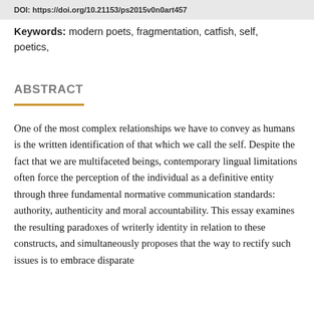DOI: https://doi.org/10.21153/ps2015v0n0art457
Keywords: modern poets, fragmentation, catfish, self, poetics,
ABSTRACT
One of the most complex relationships we have to convey as humans is the written identification of that which we call the self. Despite the fact that we are multifaceted beings, contemporary lingual limitations often force the perception of the individual as a definitive entity through three fundamental normative communication standards: authority, authenticity and moral accountability. This essay examines the resulting paradoxes of writerly identity in relation to these constructs, and simultaneously proposes that the way to rectify such issues is to embrace disparate